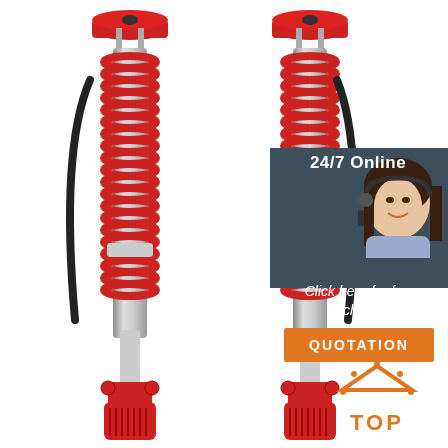[Figure (photo): Two red coilover shock absorbers with red springs and anodized red lower bodies, shown side by side on white background]
24/7 Online
[Figure (photo): Customer service representative woman smiling wearing headset, shown in dark panel overlay]
Click here for free chat !
QUOTATION
[Figure (illustration): Orange house/triangle icon with dots above it representing a TOP badge]
TOP